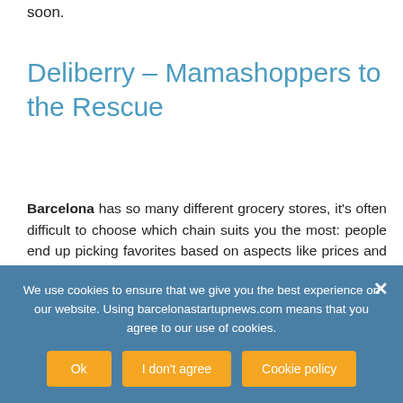soon.
Deliberry – Mamashoppers to the Rescue
Barcelona has so many different grocery stores, it's often difficult to choose which chain suits you the most: people end up picking favorites based on aspects like prices and how close the store is to their home. The trouble is, most tiendas in the city center are quite small, and it's very likely that you can't buy all your groceries in one place. Depending on your specific
We use cookies to ensure that we give you the best experience on our website. Using barcelonastartupnews.com means that you agree to our use of cookies.